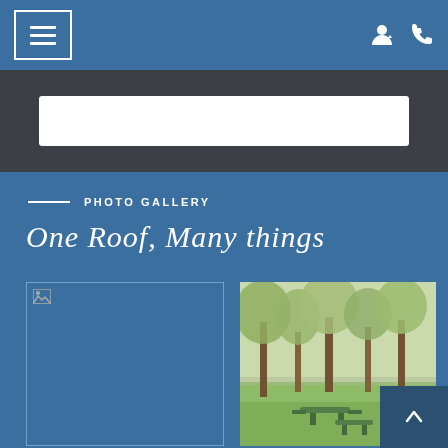Navigation bar with hamburger menu and icons
[Figure (screenshot): Website screenshot showing a photo gallery page with blue background, navigation bar, search area, section header 'PHOTO GALLERY', title 'One Roof, Many things', and two gallery images below.]
PHOTO GALLERY
One Roof, Many things